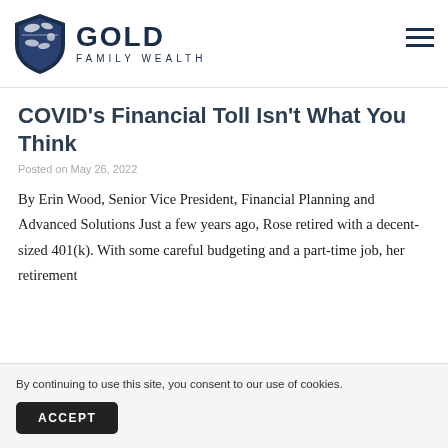[Figure (logo): Gold Family Wealth logo with shield icon and navigation hamburger menu]
COVID's Financial Toll Isn't What You Think
Posted on May 26, 2022
By Erin Wood, Senior Vice President, Financial Planning and Advanced Solutions Just a few years ago, Rose retired with a decent-sized 401(k). With some careful budgeting and a part-time job, her retirement
By continuing to use this site, you consent to our use of cookies.